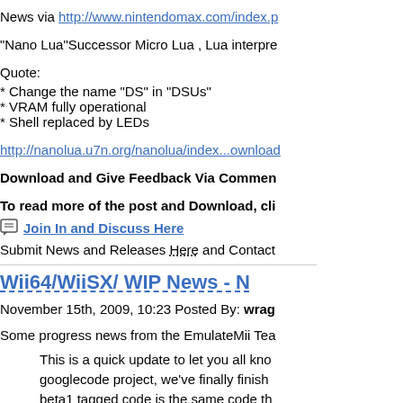News via http://www.nintendomax.com/index.p
"Nano Lua"Successor Micro Lua , Lua interpre
Quote:
* Change the name "DS" in "DSUs"
* VRAM fully operational
* Shell replaced by LEDs
http://nanolua.u7n.org/nanolua/index...ownload
Download and Give Feedback Via Commen
To read more of the post and Download, cli
Join In and Discuss Here
Submit News and Releases Here and Contact
Wii64/WiiSX/ WIP News - N
November 15th, 2009, 10:23 Posted By: wrag
Some progress news from the EmulateMii Tea
This is a quick update to let you all kno googlecode project, we've finally finish beta1 tagged code is the same code th thought the migration process would g amount of effort put in to get the emula